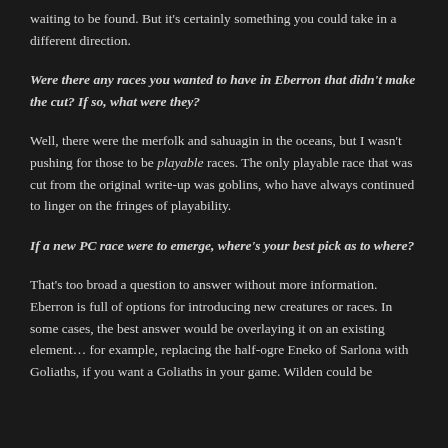waiting to be found. But it's certainly something you could take in a different direction.
Were there any races you wanted to have in Eberron that didn't make the cut? If so, what were they?
Well, there were the merfolk and sahuagin in the oceans, but I wasn't pushing for those to be playable races. The only playable race that was cut from the original write-up was goblins, who have always continued to linger on the fringes of playability.
If a new PC race were to emerge, where's your best pick as to where?
That's too broad a question to answer without more information. Eberron is full of options for introducing new creatures or races. In some cases, the best answer would be overlaying it on an existing element… for example, replacing the half-ogre Eneko of Sarlona with Goliaths, if you want a Goliaths in your game. Wilden could be